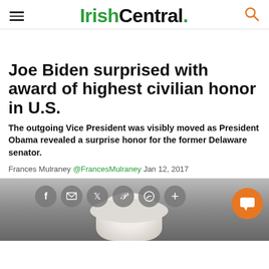IrishCentral.
Joe Biden surprised with award of highest civilian honor in U.S.
The outgoing Vice President was visibly moved as President Obama revealed a surprise honor for the former Delaware senator.
Frances Mulraney @FrancesMulraney Jan 12, 2017
[Figure (photo): Back of Joe Biden's head with grey/white hair, with social share buttons (Facebook, email, Twitter, Pinterest, WhatsApp, plus) overlaid, and an orange chat/comment button at bottom right]